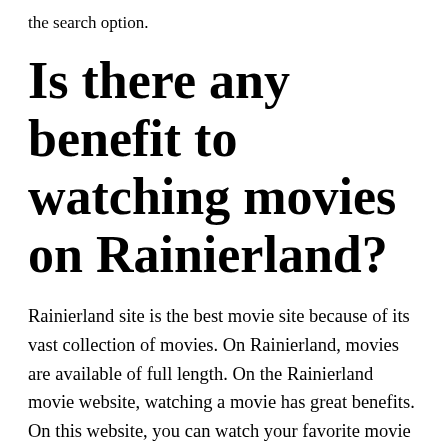the search option.
Is there any benefit to watching movies on Rainierland?
Rainierland site is the best movie site because of its vast collection of movies. On Rainierland, movies are available of full length. On the Rainierland movie website, watching a movie has great benefits. On this website, you can watch your favorite movie in HD. The website is entirely free and you can access easily to your favorite movie.